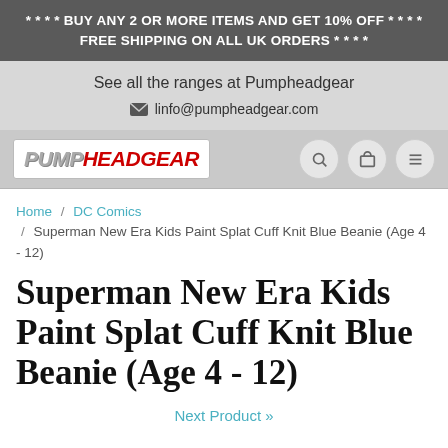* * * * BUY ANY 2 OR MORE ITEMS AND GET 10% OFF * * * * FREE SHIPPING ON ALL UK ORDERS * * * *
See all the ranges at Pumpheadgear
linfo@pumpheadgear.com
[Figure (logo): Pumpheadgear logo in a white box with PUMP in gray/white and HEADGEAR in red italic bold text]
Home / DC Comics / Superman New Era Kids Paint Splat Cuff Knit Blue Beanie (Age 4 - 12)
Superman New Era Kids Paint Splat Cuff Knit Blue Beanie (Age 4 - 12)
Next Product »